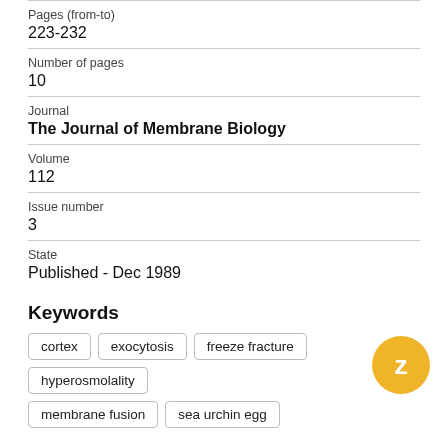Pages (from-to)
223-232
Number of pages
10
Journal
The Journal of Membrane Biology
Volume
112
Issue number
3
State
Published - Dec 1989
Keywords
cortex
exocytosis
freeze fracture
hyperosmolality
membrane fusion
sea urchin egg